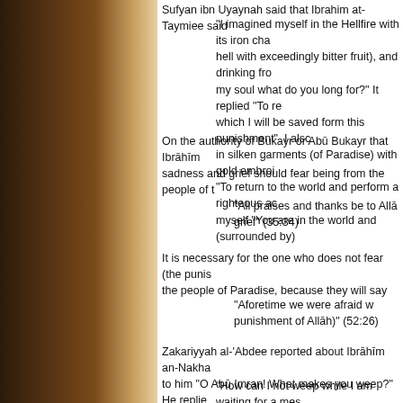Sufyan ibn Uyaynah said that Ibrahim at-Taymiee said
"I imagined myself in the Hellfire with its iron cha hell with exceedingly bitter fruit), and drinking fro my soul what do you long for?" It replied "To re which I will be saved form this punishment". I alsc in silken garments (of Paradise) with gold embroi "To return to the world and perform a righteous ac myself "You are in the world and (surrounded by)
On the authority of Bukayr or Abū Bukayr that Ibrāhīm sadness and grief should fear being from the people of t
"All praises and thanks be to Allā grief" (35:34)
It is necessary for the one who does not fear (the punis the people of Paradise, because they will say
"Aforetime we were afraid w punishment of Allāh)" (52:26)
Zakariyyah al-'Abdee reported about Ibrāhīm an-Nakha to him "O Abū Imran! What makes you weep?" He replie
"How can I not weep while I am waiting for a mes or that (ie Paradise or Hellfire)".